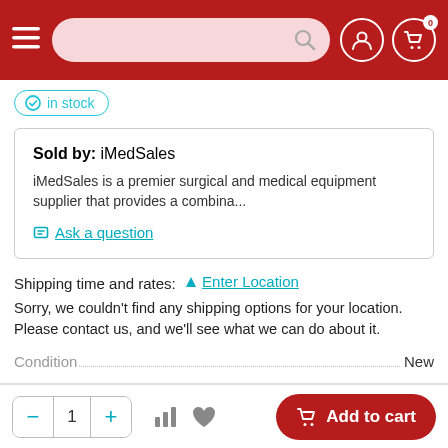Navigation bar with menu, search, account, and cart
in stock
Sold by: iMedSales
iMedSales is a premier surgical and medical equipment supplier that provides a combina...
Ask a question
Shipping time and rates: Enter Location
Sorry, we couldn't find any shipping options for your location. Please contact us, and we'll see what we can do about it.
Condition...............................................................................New
- 1 + [bar chart icon] [heart icon] Add to cart